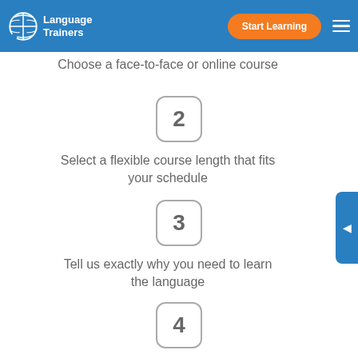[Figure (logo): Language Trainers logo with globe speech bubble icon and white text on blue header]
Choose a face-to-face or online course
2
Select a flexible course length that fits your schedule
3
Tell us exactly why you need to learn the language
4
Get matched with the perfect certified and native language trainer in your city (or online)